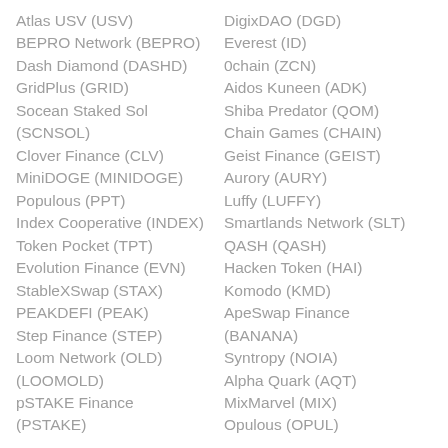Atlas USV (USV)
BEPRO Network (BEPRO)
Dash Diamond (DASHD)
GridPlus (GRID)
Socean Staked Sol (SCNSOL)
Clover Finance (CLV)
MiniDOGE (MINIDOGE)
Populous (PPT)
Index Cooperative (INDEX)
Token Pocket (TPT)
Evolution Finance (EVN)
StableXSwap (STAX)
PEAKDEFI (PEAK)
Step Finance (STEP)
Loom Network (OLD) (LOOMOLD)
pSTAKE Finance (PSTAKE)
DigixDAO (DGD)
Everest (ID)
0chain (ZCN)
Aidos Kuneen (ADK)
Shiba Predator (QOM)
Chain Games (CHAIN)
Geist Finance (GEIST)
Aurory (AURY)
Luffy (LUFFY)
Smartlands Network (SLT)
QASH (QASH)
Hacken Token (HAI)
Komodo (KMD)
ApeSwap Finance (BANANA)
Syntropy (NOIA)
Alpha Quark (AQT)
MixMarvel (MIX)
Opulous (OPUL)